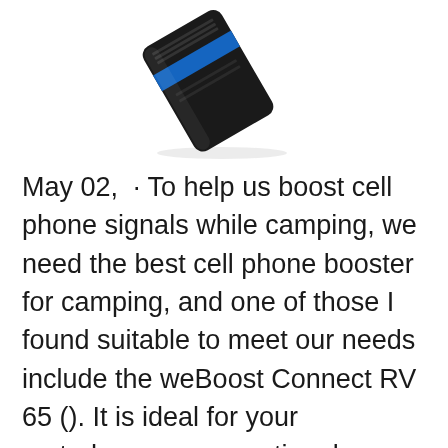[Figure (photo): A product photo of a black electronic device (cell phone signal booster/amplifier) shown at an angle, with a blue accent stripe, against a white background with a faint shadow beneath it.]
May 02,  · To help us boost cell phone signals while camping, we need the best cell phone booster for camping, and one of those I found suitable to meet our needs include the weBoost Connect RV 65 (). It is ideal for your motorhome or recreational vehicle because it offers top performance even in areas with weak signals.; Best portable cell phone